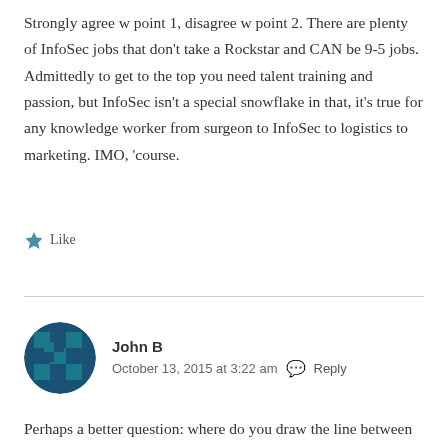Strongly agree w point 1, disagree w point 2. There are plenty of InfoSec jobs that don't take a Rockstar and CAN be 9-5 jobs. Admittedly to get to the top you need talent training and passion, but InfoSec isn't a special snowflake in that, it's true for any knowledge worker from surgeon to InfoSec to logistics to marketing. IMO, 'course.
★ Like
John B
October 13, 2015 at 3:22 am  Reply
Perhaps a better question: where do you draw the line between InfoSec & other computer